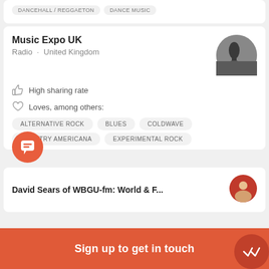DANCEHALL / REGGAETON
DANCE MUSIC
Music Expo UK
Radio · United Kingdom
[Figure (photo): Circular avatar photo of a person at a radio microphone]
High sharing rate
Loves, among others:
ALTERNATIVE ROCK
BLUES
COLDWAVE
COUNTRY AMERICANA
EXPERIMENTAL ROCK
[Figure (illustration): Red circular chat/message bubble icon button]
David Sears of WBGU-fm: World & F...
[Figure (photo): Circular avatar photo thumbnail]
Sign up to get in touch